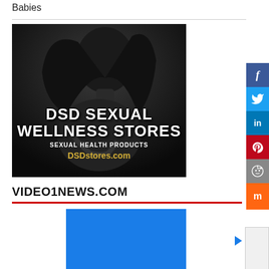Babies
[Figure (photo): Black and white advertisement image for DSD Sexual Wellness Stores showing a female silhouette with text overlay: 'DSD SEXUAL WELLNESS STORES - SEXUAL HEALTH PRODUCTS - DSDstores.com']
VIDEO1NEWS.COM
[Figure (screenshot): Blue video player box at bottom of page]
[Figure (infographic): Social media share sidebar with Facebook, Twitter, LinkedIn, Pinterest, Reddit, and Mix icons on right edge]